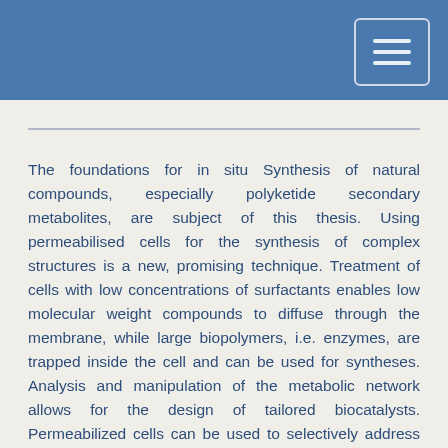The foundations for in situ Synthesis of natural compounds, especially polyketide secondary metabolites, are subject of this thesis. Using permeabilised cells for the synthesis of complex structures is a new, promising technique. Treatment of cells with low concentrations of surfactants enables low molecular weight compounds to diffuse through the membrane, while large biopolymers, i.e. enzymes, are trapped inside the cell and can be used for syntheses. Analysis and manipulation of the metabolic network allows for the design of tailored biocatalysts. Permeabilized cells can be used to selectively address distinct biosynthetic routes by limiting the substrates. First, the synthesis of the heterologous polyketide secondary metabolite flaviolin in permeabilized cells of E. coli was tested. Conditions for